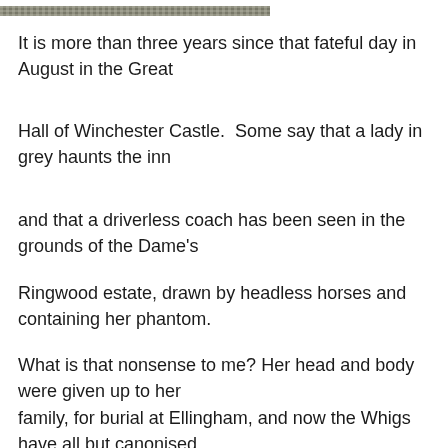[Figure (photo): Partial view of a textured/woven surface, cropped at top of page]
It is more than three years since that fateful day in August in the Great
Hall of Winchester Castle.  Some say that a lady in grey haunts the inn
and that a driverless coach has been seen in the grounds of the Dame's
Ringwood estate, drawn by headless horses and containing her phantom.
What is that nonsense to me? Her head and body were given up to her
family, for burial at Ellingham, and now the Whigs have all but canonised